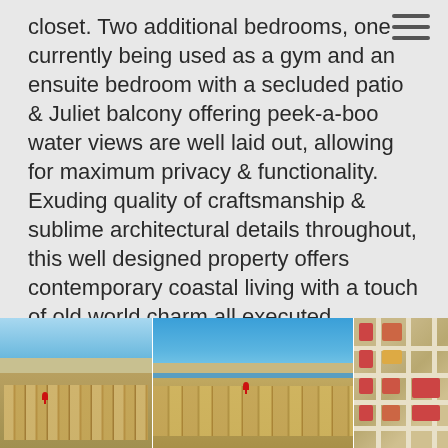closet. Two additional bedrooms, one currently being used as a gym and an ensuite bedroom with a secluded patio & Juliet balcony offering peek-a-boo water views are well laid out, allowing for maximum privacy & functionality. Exuding quality of craftsmanship & sublime architectural details throughout, this well designed property offers contemporary coastal living with a touch of old world charm all executed exceptionally well.
[Figure (photo): Aerial view of coastal neighborhood with blue water/bay visible, red location pin marker shown on property]
[Figure (photo): Aerial view of coastal neighborhood and beach/bay, red location pin marker shown on property]
[Figure (map): Satellite/aerial map view of street grid and building blocks in neighborhood]